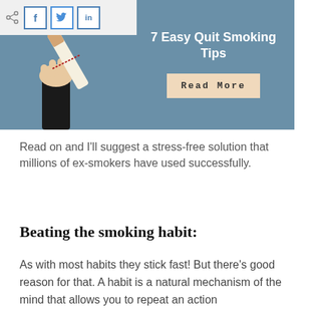[Figure (illustration): Banner image with steel-blue background showing a cartoon hand breaking a cigarette, with text '7 Easy Quit Smoking Tips' and a 'Read More' button. Social sharing icons (share, Facebook, Twitter, LinkedIn) in a white bar at top-left.]
Read on and I'll suggest a stress-free solution that millions of ex-smokers have used successfully.
Beating the smoking habit:
As with most habits they stick fast! But there's good reason for that. A habit is a natural mechanism of the mind that allows you to repeat an action